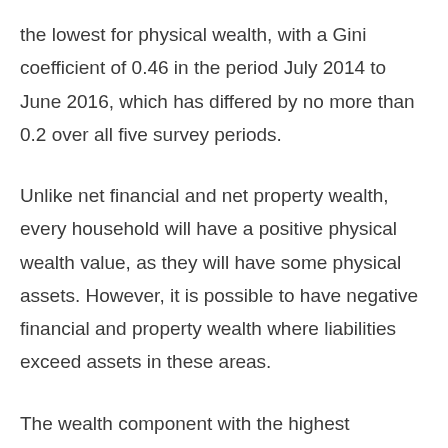the lowest for physical wealth, with a Gini coefficient of 0.46 in the period July 2014 to June 2016, which has differed by no more than 0.2 over all five survey periods.
Unlike net financial and net property wealth, every household will have a positive physical wealth value, as they will have some physical assets. However, it is possible to have negative financial and property wealth where liabilities exceed assets in these areas.
The wealth component with the highest inequality in the latest period of July 2014 to June 2016 was net financial wealth, which had a Gini coefficient of 0.91, unchanged from the period July 2012 to June 2014.